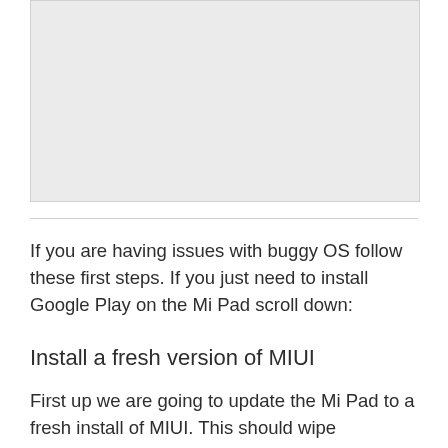[Figure (other): Gray placeholder image area at the top of the page]
If you are having issues with buggy OS follow these first steps. If you just need to install Google Play on the Mi Pad scroll down:
Install a fresh version of MIUI
First up we are going to update the Mi Pad to a fresh install of MIUI. This should wipe